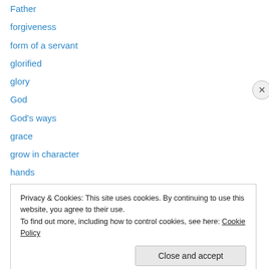Father
forgiveness
form of a servant
glorified
glory
God
God's ways
grace
grow in character
hands
hardships
higher standard
hold fast your faith
Privacy & Cookies: This site uses cookies. By continuing to use this website, you agree to their use.
To find out more, including how to control cookies, see here: Cookie Policy
Close and accept